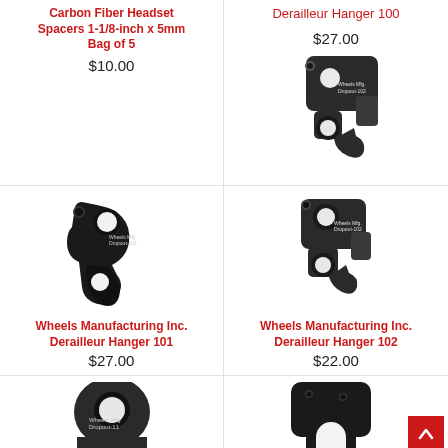Carbon Fiber Headset Spacers 1-1/8-inch x 5mm Bag of 5
$10.00
[Figure (photo): Black carbon fiber headset spacer product (implied, not visible in this crop)]
Derailleur Hanger 100
$27.00
[Figure (photo): Wheels Mfg Dropout-102 derailleur hanger, black metal, shown from front]
Wheels Manufacturing Inc. Derailleur Hanger 101
$27.00
[Figure (photo): Wheels Mfg Dropout-101 derailleur hanger, black metal, shown from front]
Wheels Manufacturing Inc. Derailleur Hanger 102
$22.00
[Figure (photo): Wheels Mfg Dropout-11x derailleur hanger, dark metal, partially visible at bottom]
[Figure (photo): Derailleur hanger, black, partially visible at bottom right]